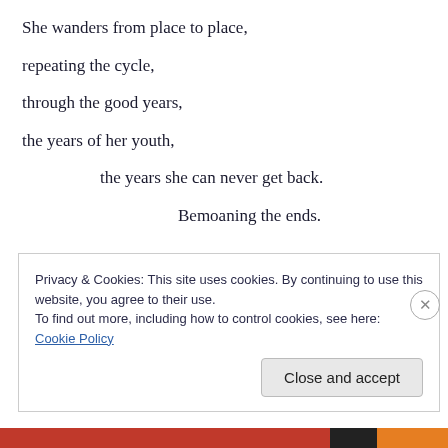She wanders from place to place,
repeating the cycle,
through the good years,
the years of her youth,
the years she can never get back.
Bemoaning the ends.
Till one day, something snaps, something changes,
and now she chooses which acts of nature
she will violate and why,
Privacy & Cookies: This site uses cookies. By continuing to use this website, you agree to their use.
To find out more, including how to control cookies, see here: Cookie Policy
Close and accept